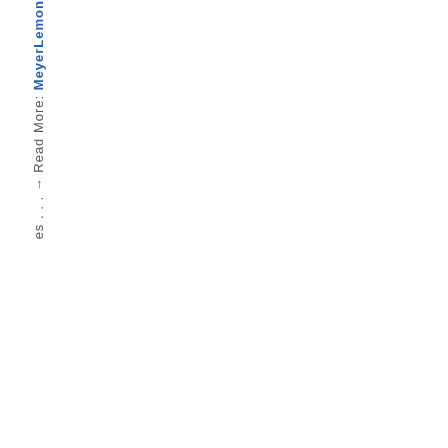es . . . → Read More: MeyerLemon